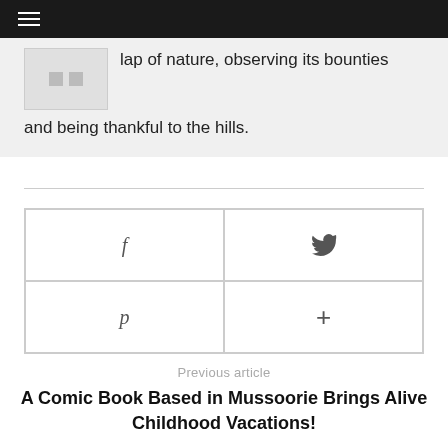☰
lap of nature, observing its bounties and being thankful to the hills.
[Figure (other): Social sharing buttons grid: Facebook (f), Twitter (bird icon), Pinterest (p), Google+ (+)]
Previous article
A Comic Book Based in Mussoorie Brings Alive Childhood Vacations!